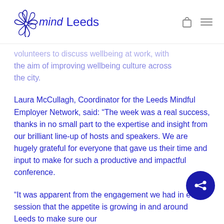mind Leeds
volunteers to discuss wellbeing at work, with the aim of improving wellbeing culture across the city.
Laura McCullagh, Coordinator for the Leeds Mindful Employer Network, said: “The week was a real success, thanks in no small part to the expertise and insight from our brilliant line-up of hosts and speakers. We are hugely grateful for everyone that gave us their time and input to make for such a productive and impactful conference.
“It was apparent from the engagement we had in every session that the appetite is growing in and around Leeds to make sure our workplaces are positive environments for